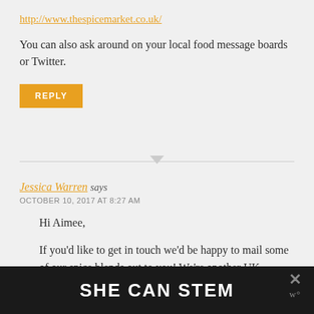http://www.thespicemarket.co.uk/
You can also ask around on your local food message boards or Twitter.
REPLY
Jessica Warren says
OCTOBER 10, 2017 AT 8:27 AM
Hi Aimee,
If you’d like to get in touch we’d be happy to mail some of our spice blends out to you! We’re another UK
SHE CAN STEM